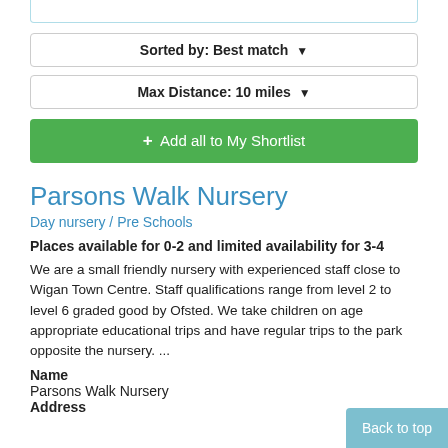Sorted by: Best match ▼
Max Distance: 10 miles ▼
+ Add all to My Shortlist
Parsons Walk Nursery
Day nursery / Pre Schools
Places available for 0-2 and limited availability for 3-4
We are a small friendly nursery with experienced staff close to Wigan Town Centre. Staff qualifications range from level 2 to level 6 graded good by Ofsted. We take children on age appropriate educational trips and have regular trips to the park opposite the nursery. ...
Name
Parsons Walk Nursery
Address